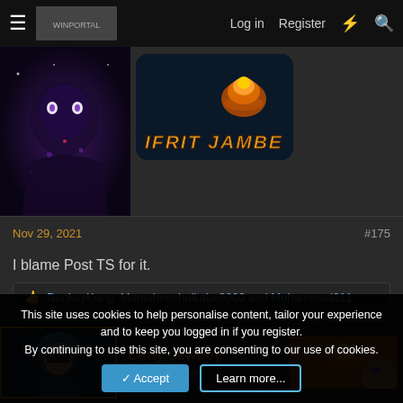Log in  Register
[Figure (photo): Dark anime character avatar (purple/cosmic theme) on left; Ifrit Jambe banner image on right]
Nov 29, 2021   #175
I blame Post TS for it.
👍 DonkeyKong, Momoheechulkabe9000 and Mohammad211
Cutty Jewboy   I Can Go Lower
This site uses cookies to help personalise content, tailor your experience and to keep you logged in if you register.
By continuing to use this site, you are consenting to our use of cookies.
Accept   Learn more...